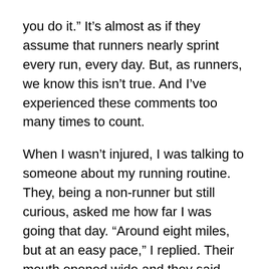you do it.” It’s almost as if they assume that runners nearly sprint every run, every day. But, as runners, we know this isn’t true. And I’ve experienced these comments too many times to count.
When I wasn’t injured, I was talking to someone about my running routine. They, being a non-runner but still curious, asked me how far I was going that day. “Around eight miles, but at an easy pace,” I replied. Their mouth opened wide and they said, rolling their eyes, “Easy? I don’t know how eight miles is easy.”
That’s when I realized that many non-runners, or